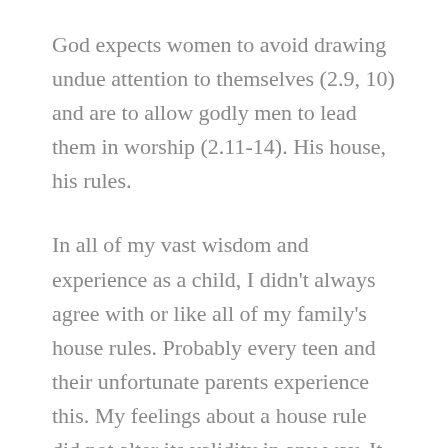God expects women to avoid drawing undue attention to themselves (2.9, 10) and are to allow godly men to lead them in worship (2.11-14). His house, his rules.
In all of my vast wisdom and experience as a child, I didn't always agree with or like all of my family's house rules. Probably every teen and their unfortunate parents experience this. My feelings about a house rule did not alter its validity in any way. It was not my house so I was not in a position to change or violate the rules. Trying to do so was not only futile but